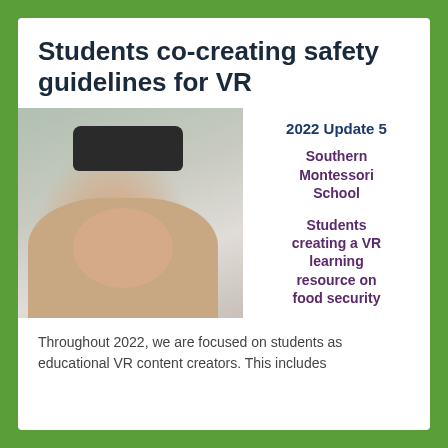Students co-creating safety guidelines for VR
[Figure (photo): A woman smiling while lifting a VR headset off her face in a classroom setting, wearing a beige knit sweater. The right side of the image contains overlaid text labels.]
2022 Update 5
Southern Montessori School
Students creating a VR learning resource on food security
Throughout 2022, we are focused on students as educational VR content creators. This includes